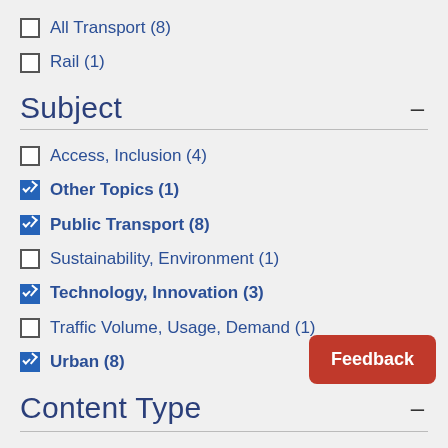All Transport (8)
Rail (1)
Subject
Access, Inclusion (4)
Other Topics (1)
Public Transport (8)
Sustainability, Environment (1)
Technology, Innovation (3)
Traffic Volume, Usage, Demand (1)
Urban (8)
Content Type